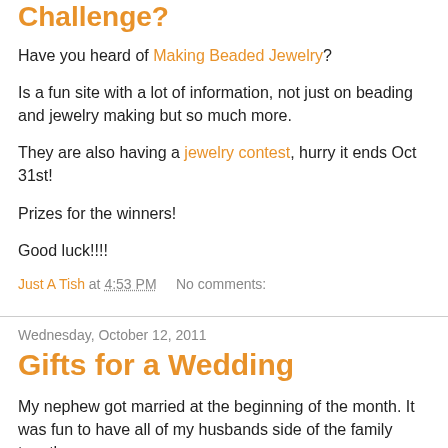Challenge?
Have you heard of Making Beaded Jewelry?
Is a fun site with a lot of information, not just on beading and jewelry making but so much more.
They are also having a jewelry contest, hurry it ends Oct 31st!
Prizes for the winners!
Good luck!!!!
Just A Tish at 4:53 PM   No comments:
Wednesday, October 12, 2011
Gifts for a Wedding
My nephew got married at the beginning of the month. It was fun to have all of my husbands side of the family together.